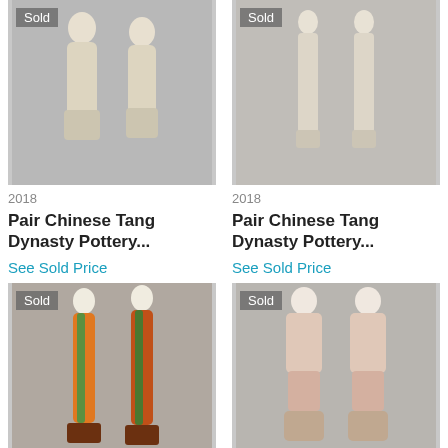[Figure (photo): Two cream-colored Chinese Tang Dynasty pottery figures standing, sold badge in top left]
[Figure (photo): Two cream-colored Chinese Tang Dynasty pottery figures standing, sold badge in top left]
2018
2018
Pair Chinese Tang Dynasty Pottery...
Pair Chinese Tang Dynasty Pottery...
See Sold Price
See Sold Price
[Figure (photo): Two colorful glazed Chinese pottery figures in orange and green robes on wooden stands, sold badge]
[Figure (photo): Two Chinese porcelain deity/Buddha figures in pink and cream, sold badge]